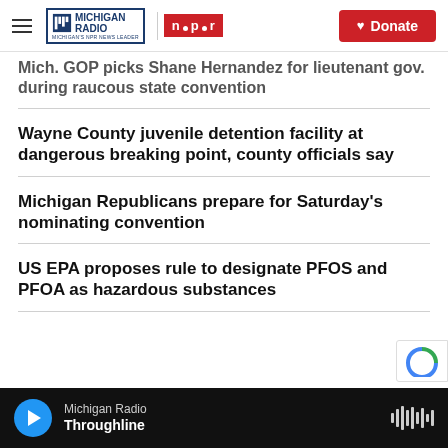Michigan Radio NPR | Donate
Mich. GOP picks Shane Hernandez for lieutenant gov. during raucous state convention
Wayne County juvenile detention facility at dangerous breaking point, county officials say
Michigan Republicans prepare for Saturday's nominating convention
US EPA proposes rule to designate PFOS and PFOA as hazardous substances
Michigan Radio | Throughline